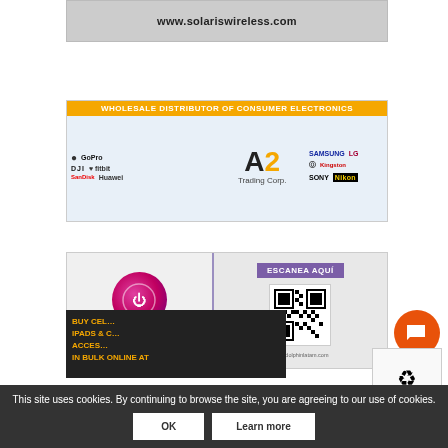[Figure (photo): Solaris Wireless advertisement banner showing www.solariswireless.com with phone/device images]
[Figure (photo): A2 Trading Corp wholesale distributor of consumer electronics advertisement featuring brands: Apple, GoPro, DJI, Fitbit, SanDisk, Huawei, Samsung, LG, Motorola, Kingston, Sony, Nikon]
[Figure (photo): Dolphin Wireless Electronics LLC advertisement with logo, QR code labeled ESCANEA AQUI, and website www.dolphinlatam.com]
[Figure (photo): Partial bottom advertisement with text: BUY CELL, IPADS & C, ACCES, IN BULK ONLINE AT in gold/orange on dark background]
This site uses cookies. By continuing to browse the site, you are agreeing to our use of cookies.
OK
Learn more